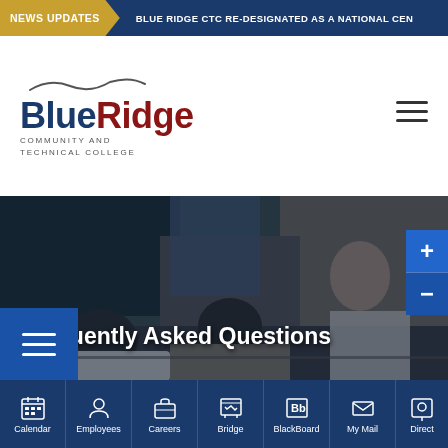NEWS UPDATES | BLUE RIDGE CTC RE-DESIGNATED AS A NATIONAL CEN
[Figure (logo): Blue Ridge Community and Technical College logo with wave graphic above text]
Frequently Asked Questions
[Figure (photo): Classroom scene with instructor standing and students seated at desks with laptops, dark overlay applied]
Calendar | Employees | Careers | Bridge | BlackBoard | My Mail | Direct